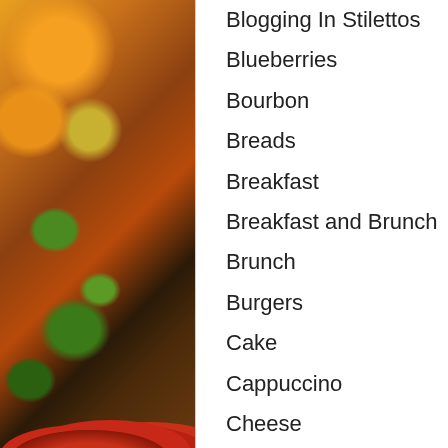Blogging In Stilettos
Blueberries
Bourbon
Breads
Breakfast
Breakfast and Brunch
Brunch
Burgers
Cake
Cappuccino
Cheese
Chill
Cinco de Mayo
Cleaning Products
Cocktails
Cocktails 'N Stilettos